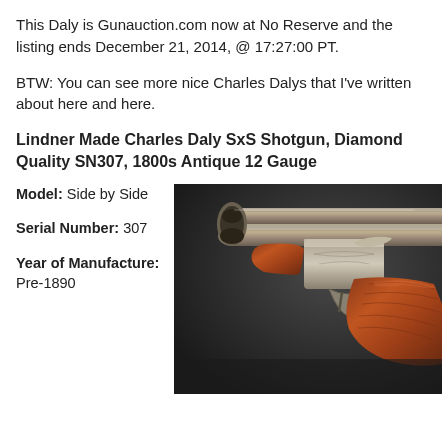This Daly is Gunauction.com now at No Reserve and the listing ends December 21, 2014, @ 17:27:00 PT.
BTW: You can see more nice Charles Dalys that I've written about here and here.
Lindner Made Charles Daly SxS Shotgun, Diamond Quality SN307, 1800s Antique 12 Gauge
Model: Side by Side
Serial Number: 307
Year of Manufacture: Pre-1890
[Figure (photo): Close-up photo of a Charles Daly side-by-side shotgun showing the breech, barrels, and wooden stock on a dark background]